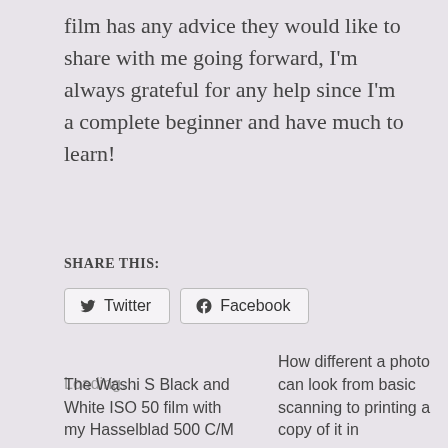film has any advice they would like to share with me going forward, I'm always grateful for any help since I'm a complete beginner and have much to learn!
SHARE THIS:
Twitter  Facebook
Loading...
The Washi S Black and White ISO 50 film with my Hasselblad 500 C/M
How different a photo can look from basic scanning to printing a copy of it in